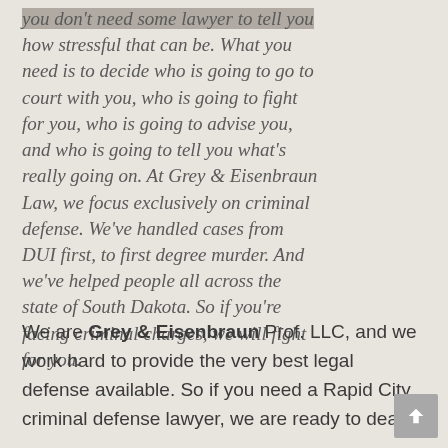you don't need some lawyer to tell you how stressful that can be. What you need is to decide who is going to go to court with you, who is going to fight for you, who is going to advise you, and who is going to tell you what's really going on. At Grey & Eisenbraun Law, we focus exclusively on criminal defense. We've handled cases from DUI first, to first degree murder. And we've helped people all across the state of South Dakota. So if you're facing criminal charges, we will fight for you.
We are Grey & Eisenbraun Prof. LLC, and we work hard to provide the very best legal defense available. So if you need a Rapid City criminal defense lawyer, we are ready to deal